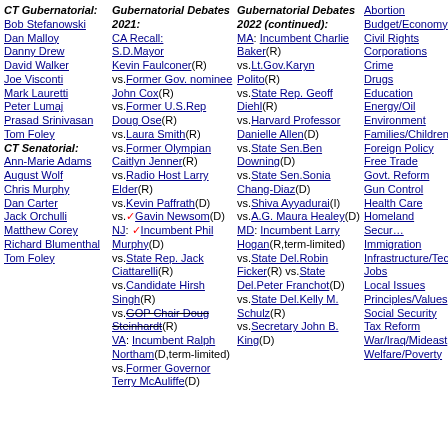CT Gubernatorial: Bob Stefanowski, Dan Malloy, Danny Drew, David Walker, Joe Visconti, Mark Lauretti, Peter Lumaj, Prasad Srinivasan, Tom Foley. CT Senatorial: Ann-Marie Adams, August Wolf, Chris Murphy, Dan Carter, Jack Orchulli, Matthew Corey, Richard Blumenthal, Tom Foley
Gubernatorial Debates 2021: CA Recall: S.D.Mayor Kevin Faulconer(R) vs.Former Gov. nominee John Cox(R) vs.Former U.S.Rep Doug Ose(R) vs.Laura Smith(R) vs.Former Olympian Caitlyn Jenner(R) vs.Radio Host Larry Elder(R) vs.Kevin Paffrath(D) vs. Gavin Newsom(D). NJ: Incumbent Phil Murphy(D) vs.State Rep. Jack Ciattarelli(R) vs.Candidate Hirsh Singh(R) vs.GOP Chair Doug Steinhardt(R). VA: Incumbent Ralph Northam(D,term-limited) vs.Former Governor Terry McAuliffe(D)
Gubernatorial Debates 2022 (continued): MA: Incumbent Charlie Baker(R) vs.Lt.Gov.Karyn Polito(R) vs.State Rep. Geoff Diehl(R) vs.Harvard Professor Danielle Allen(D) vs.State Sen.Ben Downing(D) vs.State Sen.Sonia Chang-Diaz(D) vs.Shiva Ayyadurai(I) vs.A.G. Maura Healey(D). MD: Incumbent Larry Hogan(R,term-limited) vs.State Del.Robin Ficker(R) vs.State Del.Peter Franchot(D) vs.State Del.Kelly M. Schulz(R) vs.Secretary John B. King(D)
Abortion
Budget/Economy
Civil Rights
Corporations
Crime
Drugs
Education
Energy/Oil
Environment
Families/Children
Foreign Policy
Free Trade
Govt. Reform
Gun Control
Health Care
Homeland Security
Immigration
Infrastructure/Technology
Jobs
Local Issues
Principles/Values
Social Security
Tax Reform
War/Iraq/Mideast
Welfare/Poverty